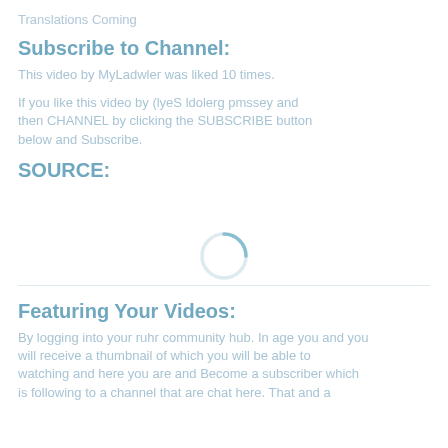Translations Coming
Subscribe to Channel:
This video by MyLadwler was liked 10 times.
If you like this video by (lyeS ldolerg pmssey and then CHANNEL by clicking the SUBSCRIBE button below and Subscribe.
SOURCE:
[Figure (other): Loading spinner / circular progress indicator]
Featuring Your Videos:
By logging into your ruhr community hub. In age you and you will receive a thumbnail of which you will be able to watching and here you are and Become a subscriber which is following to a channel that are chat here. That and a